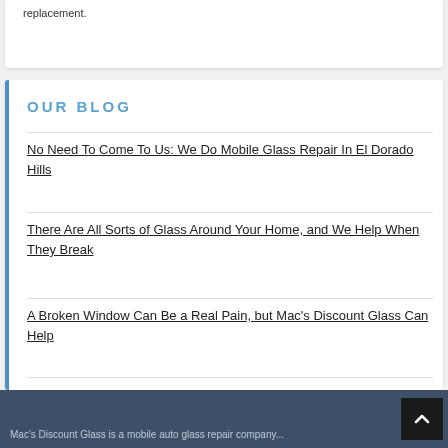replacement.
OUR BLOG
No Need To Come To Us: We Do Mobile Glass Repair In El Dorado Hills
There Are All Sorts of Glass Around Your Home, and We Help When They Break
A Broken Window Can Be a Real Pain, but Mac's Discount Glass Can Help
Mac's Discount Glass is a mobile auto glass repair company...